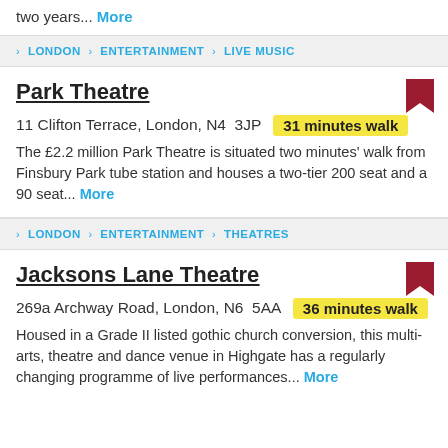two years... More
LONDON > ENTERTAINMENT > LIVE MUSIC
Park Theatre
11 Clifton Terrace, London, N4  3JP   31 minutes walk
The £2.2 million Park Theatre is situated two minutes' walk from Finsbury Park tube station and houses a two-tier 200 seat and a 90 seat... More
LONDON > ENTERTAINMENT > THEATRES
Jacksons Lane Theatre
269a Archway Road, London, N6  5AA   36 minutes walk
Housed in a Grade II listed gothic church conversion, this multi-arts, theatre and dance venue in Highgate has a regularly changing programme of live performances... More